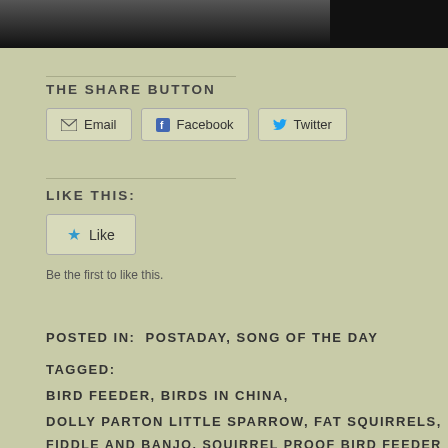[Figure (photo): Black and white photo strip at top of page, showing partial view of a person]
THE SHARE BUTTON
Email   Facebook   Twitter
LIKE THIS:
Like
Be the first to like this.
POSTED IN:  POSTADAY, SONG OF THE DAY
TAGGED:
BIRD FEEDER, BIRDS IN CHINA,
DOLLY PARTON LITTLE SPARROW, FAT SQUIRRELS,
FIDDLE AND BANJO, SQUIRREL PROOF BIRD FEEDER